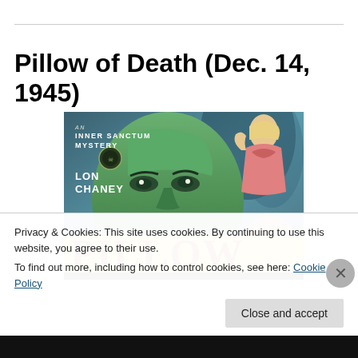Pillow of Death (Dec. 14, 1945)
[Figure (photo): Movie poster for 'Pillow of Death' (1945), an Inner Sanctum Mystery featuring Lon Chaney. The poster shows a close-up of a green-tinted man's face, a woman in pink in the upper right, a smaller man in the lower right, and the title 'PILLOW' in large red letters on a yellow band.]
Privacy & Cookies: This site uses cookies. By continuing to use this website, you agree to their use.
To find out more, including how to control cookies, see here: Cookie Policy
Close and accept